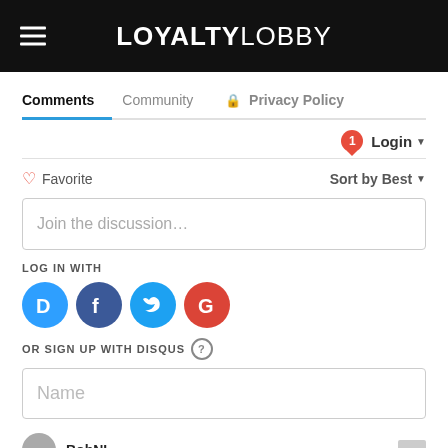LOYALTYLOBBY
Comments | Community | Privacy Policy
Login ▼
♡ Favorite     Sort by Best ▼
Join the discussion...
LOG IN WITH
[Figure (infographic): Social login icons: Disqus (D), Facebook (f), Twitter (bird), Google (G)]
OR SIGN UP WITH DISQUS ?
Name
BobNL